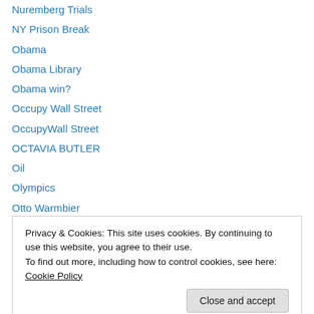Nuremberg Trials
NY Prison Break
Obama
Obama Library
Obama win?
Occupy Wall Street
OccupyWall Street
OCTAVIA BUTLER
Oil
Olympics
Otto Warmbier
PALESTINIANS
Parable of the Talents
Privacy & Cookies: This site uses cookies. By continuing to use this website, you agree to their use.
To find out more, including how to control cookies, see here: Cookie Policy
Pete Seeger